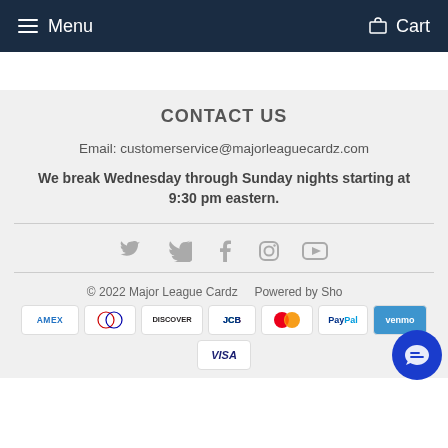Menu   Cart
CONTACT US
Email: customerservice@majorleaguecardz.com
We break Wednesday through Sunday nights starting at 9:30 pm eastern.
[Figure (infographic): Social media icons: Twitter, Facebook, Instagram, YouTube]
© 2022 Major League Cardz    Powered by Sho...
[Figure (infographic): Payment method icons: AMEX, Diners Club, Discover, JCB, Mastercard, PayPal, Venmo, Visa]